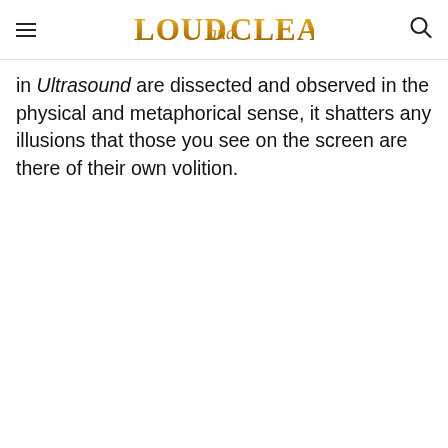LOUD AND CLEAR [logo]
in Ultrasound are dissected and observed in the physical and metaphorical sense, it shatters any illusions that those you see on the screen are there of their own volition.